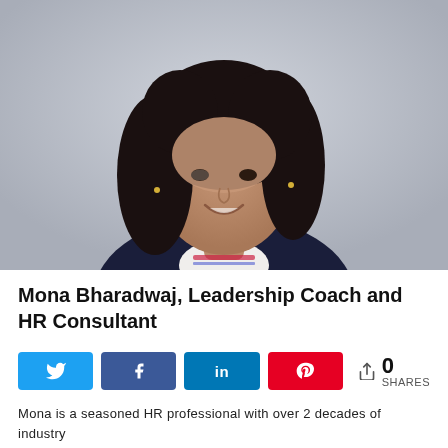[Figure (photo): Portrait photo of Mona Bharadwaj, a woman with dark wavy hair, smiling, wearing a white striped top and dark blazer, against a light background.]
Mona Bharadwaj, Leadership Coach and HR Consultant
[Figure (infographic): Social share buttons: Twitter (blue), Facebook (blue), LinkedIn (blue), Pinterest (red), and a share count showing 0 SHARES.]
Mona is a seasoned HR professional with over 2 decades of industry